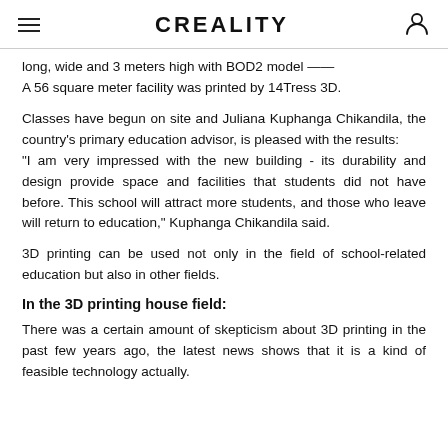CREALITY
long, wide and 3 meters high with BOD2 model —— A 56 square meter facility was printed by 14Tress 3D.
Classes have begun on site and Juliana Kuphanga Chikandila, the country's primary education advisor, is pleased with the results:
"I am very impressed with the new building - its durability and design provide space and facilities that students did not have before. This school will attract more students, and those who leave will return to education," Kuphanga Chikandila said.
3D printing can be used not only in the field of school-related education but also in other fields.
In the 3D printing house field:
There was a certain amount of skepticism about 3D printing in the past few years ago, the latest news shows that it is a kind of feasible technology actually.